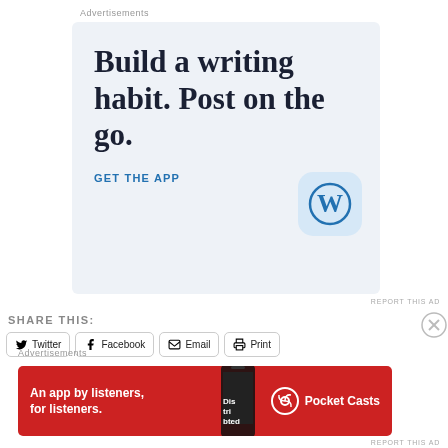Advertisements
[Figure (illustration): WordPress advertisement: 'Build a writing habit. Post on the go.' with GET THE APP call to action and WordPress logo icon on a light blue background]
REPORT THIS AD
SHARE THIS:
Twitter
Facebook
Email
Print
Advertisements
[Figure (illustration): Pocket Casts advertisement: 'An app by listeners, for listeners.' with red background, phone image and Pocket Casts logo]